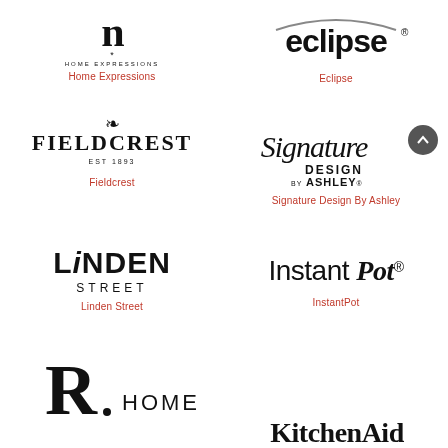[Figure (logo): Home Expressions brand logo - stylized 'n' with asterisk and HOME EXPRESSIONS text]
Home Expressions
[Figure (logo): Eclipse brand logo - lowercase 'eclipse' with arc above]
Eclipse
[Figure (logo): Fieldcrest brand logo - FIELDCREST EST 1893 with decorative element]
Fieldcrest
[Figure (logo): Signature Design by Ashley cursive logo]
Signature Design By Ashley
[Figure (logo): Linden Street brand logo - LiNDEN STREET in bold sans-serif]
Linden Street
[Figure (logo): Instant Pot brand logo in mixed serif/sans font]
InstantPot
[Figure (logo): R Home brand logo - large R with HOME text]
[Figure (logo): KitchenAid brand logo - partial view at bottom]